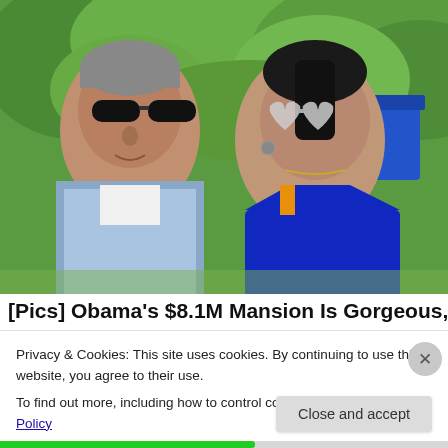[Figure (photo): Two people wearing sunglasses outdoors with lush green foliage in the background. The man on the left wears a blue checked shirt and dark sunglasses. The woman on the right wears a blue outfit and heart-shaped mirrored sunglasses.]
[Pics] Obama's $8.1M Mansion Is Gorgeous, See
Privacy & Cookies: This site uses cookies. By continuing to use this website, you agree to their use.
To find out more, including how to control cookies, see here: Cookie Policy
Close and accept